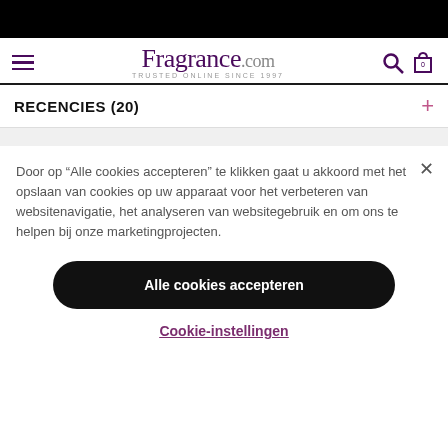[Figure (screenshot): Black top bar decorative element]
Fragrance.com — TRUSTED ONLINE SINCE 1997
RECENCIES (20)
Door op “Alle cookies accepteren” te klikken gaat u akkoord met het opslaan van cookies op uw apparaat voor het verbeteren van websitenavigatie, het analyseren van websitegebruik en om ons te helpen bij onze marketingprojecten.
Alle cookies accepteren
Cookie-instellingen